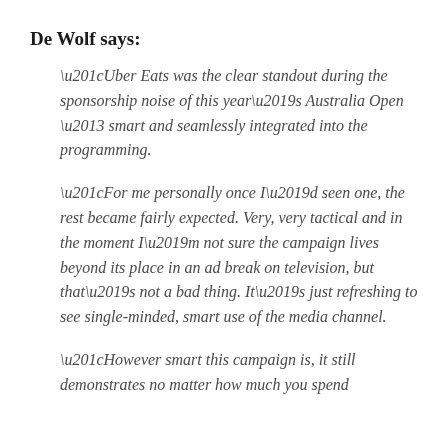De Wolf says:
“Uber Eats was the clear standout during the sponsorship noise of this year’s Australia Open – smart and seamlessly integrated into the programming.
“For me personally once I’d seen one, the rest became fairly expected. Very, very tactical and in the moment I’m not sure the campaign lives beyond its place in an ad break on television, but that’s not a bad thing. It’s just refreshing to see single-minded, smart use of the media channel.
“However smart this campaign is, it still demonstrates no matter how much you spend